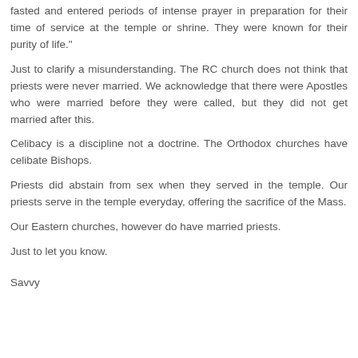fasted and entered periods of intense prayer in preparation for their time of service at the temple or shrine. They were known for their purity of life."
Just to clarify a misunderstanding. The RC church does not think that priests were never married. We acknowledge that there were Apostles who were married before they were called, but they did not get married after this.
Celibacy is a discipline not a doctrine. The Orthodox churches have celibate Bishops.
Priests did abstain from sex when they served in the temple. Our priests serve in the temple everyday, offering the sacrifice of the Mass.
Our Eastern churches, however do have married priests.
Just to let you know.
Savvy